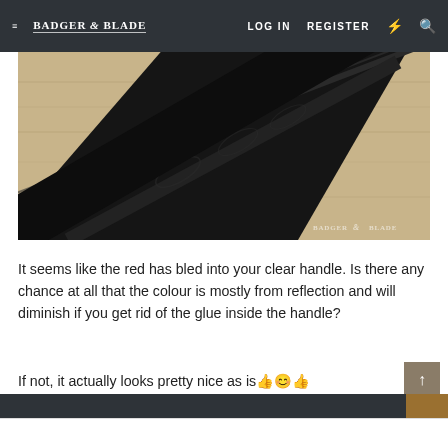Badger & Blade — LOG IN  REGISTER
[Figure (photo): Close-up photo of a straight razor blade with decorative etching lying diagonally on a wood surface, with a clear glass or acrylic handle block visible in the background. Badger & Blade watermark in bottom right.]
It seems like the red has bled into your clear handle. Is there any chance at all that the colour is mostly from reflection and will diminish if you get rid of the glue inside the handle?
If not, it actually looks pretty nice as is 👍😊👍
Last edited by a moderator: Feb 8, 2017